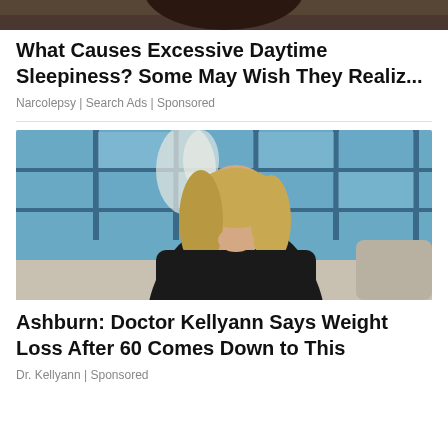[Figure (photo): Cropped top portion of a photo showing a dark-clothed person, partially visible]
What Causes Excessive Daytime Sleepiness? Some May Wish They Realiz...
Narcolepsy | Search Ads | Sponsored
[Figure (photo): A blonde woman in a black outfit sitting on a couch in a TV studio setting with blue window backdrop, resting her chin on her hand and smiling]
Ashburn: Doctor Kellyann Says Weight Loss After 60 Comes Down to This
Dr. Kellyann | Sponsored